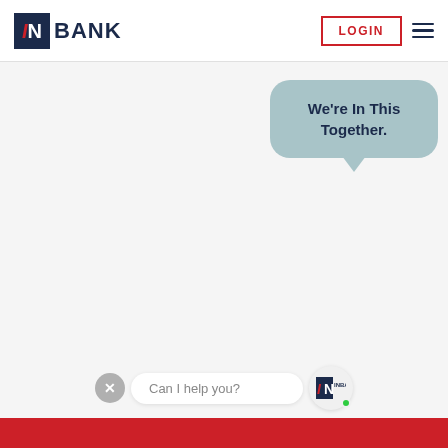[Figure (logo): InBank logo with red I, white N in dark navy square, followed by BANK text in navy]
[Figure (screenshot): LOGIN button with red border and hamburger menu icon on the right]
We're In This Together.
[Figure (screenshot): Chat bar with close X button, 'Can I help you?' input field, and InBank avatar with green online dot]